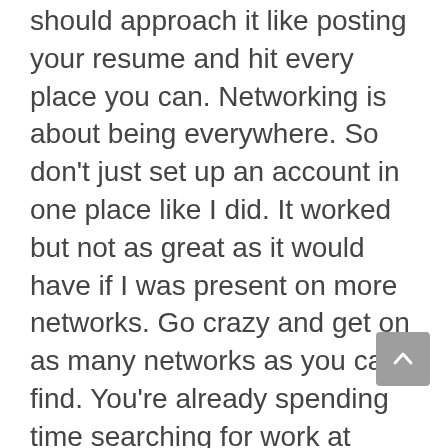should approach it like posting your resume and hit every place you can. Networking is about being everywhere. So don't just set up an account in one place like I did. It worked but not as great as it would have if I was present on more networks. Go crazy and get on as many networks as you can find. You're already spending time searching for work at home jobs, why not take an hour or two to join and participate in some social networks.
We know that our loyal subscribers are a pro-active bunch so we've decided to do some leg work for you and compile a list of sites you should join.
Don't worry it's totally free! You just need to